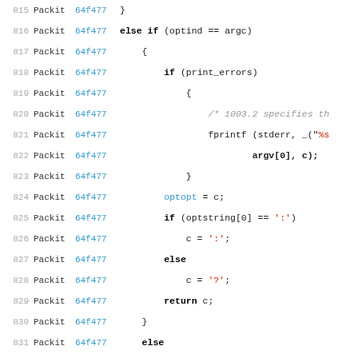[Figure (screenshot): Source code viewer showing lines 815-836 of a C file, with line numbers, package name 'Packit', commit hash '64f477', and code implementing getopt-style option parsing logic.]